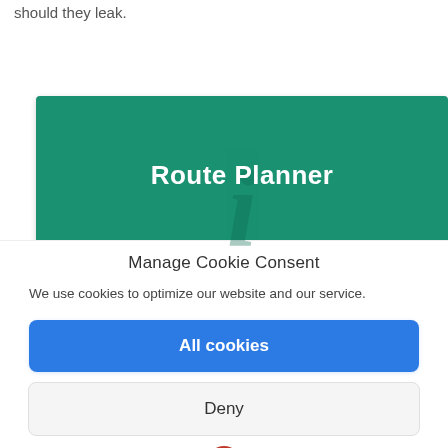should they leak.
[Figure (screenshot): Green banner with 'Route Planner' text in white bold, and a large italic 'i' icon watermark in dark green in the background.]
[Figure (screenshot): Red horizontal bar with a rounded red circle peeking above it.]
Manage Cookie Consent
We use cookies to optimize our website and our service.
All cookies
Deny